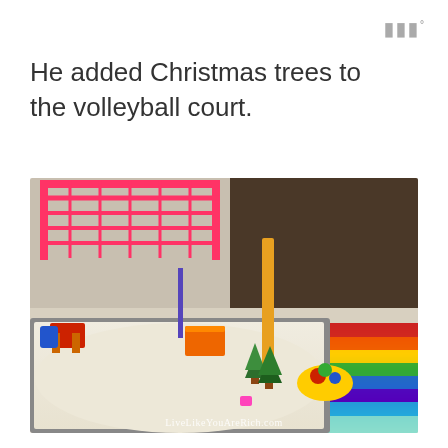III°
He added Christmas trees to the volleyball court.
[Figure (photo): A miniature beach volleyball court scene made in a tray with sand, featuring tiny chairs, a pink net structure, miniature Christmas trees, colorful toys and accessories, placed on a rainbow-striped rug. Watermark reads LiveLikeYouAreRich.com]